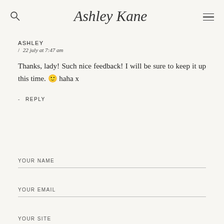Ashley Kane — navigation header with search and menu icons
ASHLEY
/ 22 july at 7:47 am
Thanks, lady! Such nice feedback! I will be sure to keep it up this time. 🙂 haha x
- REPLY
YOUR NAME
YOUR EMAIL
YOUR SITE